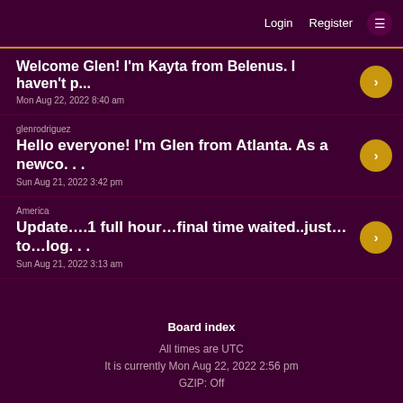Login   Register  ☰
Welcome Glen! I'm Kayta from Belenus. I haven't p…
Mon Aug 22, 2022 8:40 am
glenrodriguez
Hello everyone! I'm Glen from Atlanta. As a newco. . .
Sun Aug 21, 2022 3:42 pm
America
Update….1 full hour…final time waited..just…to…log. . .
Sun Aug 21, 2022 3:13 am
Board index
All times are UTC
It is currently Mon Aug 22, 2022 2:56 pm
GZIP: Off